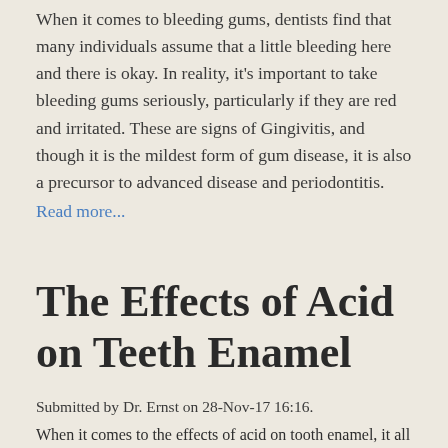When it comes to bleeding gums, dentists find that many individuals assume that a little bleeding here and there is okay. In reality, it's important to take bleeding gums seriously, particularly if they are red and irritated. These are signs of Gingivitis, and though it is the mildest form of gum disease, it is also a precursor to advanced disease and periodontitis.
Read more...
The Effects of Acid on Teeth Enamel
Submitted by Dr. Ernst on 28-Nov-17 16:16.
When it comes to the effects of acid on tooth enamel, it all comes down to having the right balance and the right aftercare. Yet, the reality is—most individuals do not consider what's happening to their teeth when they are simply